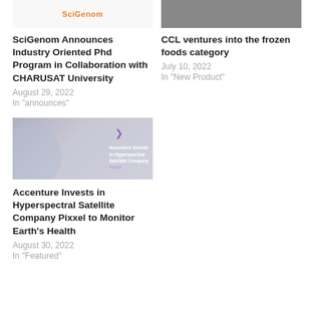[Figure (logo): SciGenom logo image at top left]
[Figure (photo): CCL photo of person at top right]
SciGenom Announces Industry Oriented Phd Program in Collaboration with CHARUSAT University
August 29, 2022
In "announces"
CCL ventures into the frozen foods category
July 10, 2022
In "New Product"
[Figure (photo): Accenture Invests in Hyperspectral Satellite Company Pixxel promotional image with dark space background and purple arrow]
Accenture Invests in Hyperspectral Satellite Company Pixxel to Monitor Earth's Health
August 30, 2022
In "Featured"